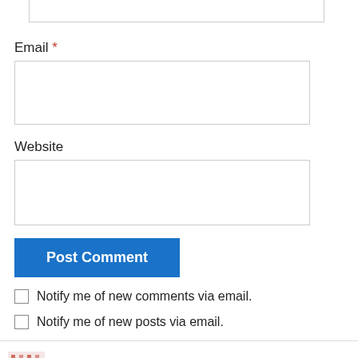[Figure (screenshot): Partial top of a form input field (text box, cropped at top)]
Email *
[Figure (screenshot): Email input text box]
Website
[Figure (screenshot): Website input text box]
[Figure (screenshot): Post Comment button (blue)]
Notify me of new comments via email.
Notify me of new posts via email.
Woebegone but Hopeful on November 12, 2018 at